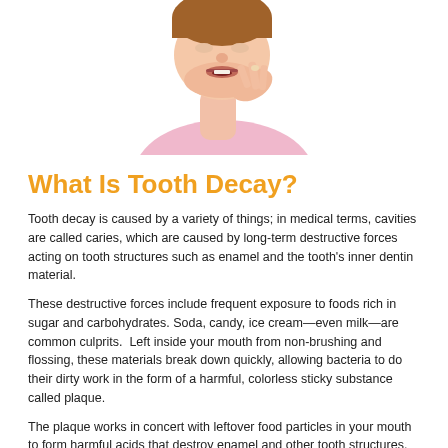[Figure (photo): Woman in pink top biting her fingernail, cropped to show face and hand close-up]
What Is Tooth Decay?
Tooth decay is caused by a variety of things; in medical terms, cavities are called caries, which are caused by long-term destructive forces acting on tooth structures such as enamel and the tooth's inner dentin material.
These destructive forces include frequent exposure to foods rich in sugar and carbohydrates. Soda, candy, ice cream—even milk—are common culprits.  Left inside your mouth from non-brushing and flossing, these materials break down quickly, allowing bacteria to do their dirty work in the form of a harmful, colorless sticky substance called plaque.
The plaque works in concert with leftover food particles in your mouth to form harmful acids that destroy enamel and other tooth structures.
If cavities aren't treated early enough, they can lead to more serious